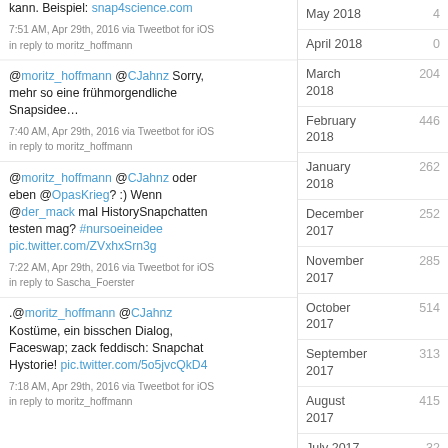kann. Beispiel: snap4science.com
7:51 AM, Apr 29th, 2016 via Tweetbot for iOS in reply to moritz_hoffmann
@moritz_hoffmann @CJahnz Sorry, mehr so eine frühmorgendliche Snapsidee…
7:40 AM, Apr 29th, 2016 via Tweetbot for iOS in reply to moritz_hoffmann
@moritz_hoffmann @CJahnz oder eben @OpasKrieg? :) Wenn @der_mack mal HistorySnapchatten testen mag? #nursoeineidee pic.twitter.com/ZVxhxSrn3g
7:22 AM, Apr 29th, 2016 via Tweetbot for iOS in reply to Sascha_Foerster
.@moritz_hoffmann @CJahnz Kostüme, ein bisschen Dialog, Faceswap; zack feddisch: Snapchat Hystorie! pic.twitter.com/5o5jvcQkD4
7:18 AM, Apr 29th, 2016 via Tweetbot for iOS in reply to moritz_hoffmann
May 2018 4
April 2018 0
March 2018 204
February 2018 446
January 2018 262
December 2017 252
November 2017 285
October 2017 514
September 2017 313
August 2017 415
July 2017 32
June 2017 70
May 2017 4